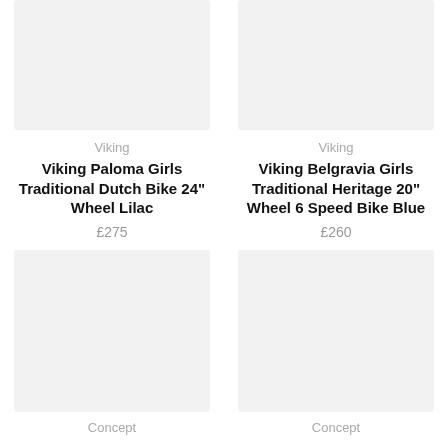[Figure (photo): Product image placeholder for Viking Paloma Girls Traditional Dutch Bike 24" Wheel Lilac]
Viking
Viking Paloma Girls Traditional Dutch Bike 24" Wheel Lilac
£275
[Figure (photo): Product image placeholder for Viking Belgravia Girls Traditional Heritage 20" Wheel 6 Speed Bike Blue]
Viking
Viking Belgravia Girls Traditional Heritage 20" Wheel 6 Speed Bike Blue
£260
[Figure (photo): Product image placeholder for bottom-left product]
Concept
[Figure (photo): Product image placeholder for bottom-right product]
Concept